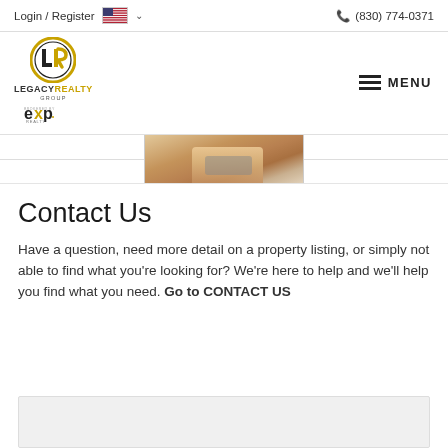Login / Register  🇺🇸 ∨    (830) 774-0371
[Figure (logo): Legacy Realty Group powered by eXp Realty logo with circular LR emblem, and hamburger MENU button on right]
[Figure (photo): Partial photo of a hand holding a device, cropped at top of visible area]
Contact Us
Have a question, need more detail on a property listing, or simply not able to find what you're looking for? We're here to help and we'll help you find what you need. Go to CONTACT US